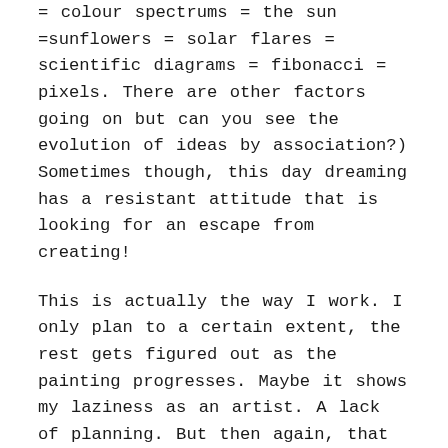= colour spectrums = the sun =sunflowers = solar flares = scientific diagrams = fibonacci = pixels. There are other factors going on but can you see the evolution of ideas by association?) Sometimes though, this day dreaming has a resistant attitude that is looking for an escape from creating!
This is actually the way I work. I only plan to a certain extent, the rest gets figured out as the painting progresses. Maybe it shows my laziness as an artist. A lack of planning. But then again, that is me down to a T as a person. It is limiting to some degree though, as sometimes I really am not in the right frame of mind to keep a work/thought flow going. I have to take a step back every now and then. Think about how much I actually like making art, how good it is to be